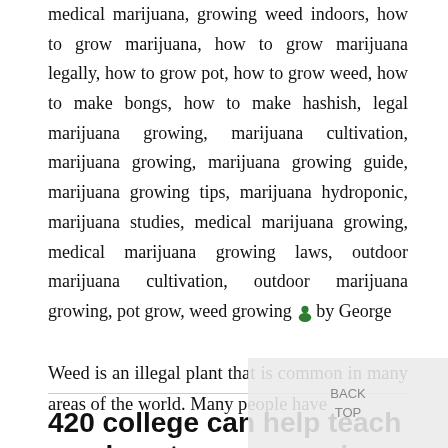medical marijuana, growing weed indoors, how to grow marijuana, how to grow marijuana legally, how to grow pot, how to grow weed, how to make bongs, how to make hashish, legal marijuana growing, marijuana cultivation, marijuana growing, marijuana growing guide, marijuana growing tips, marijuana hydroponic, marijuana studies, medical marijuana growing, medical marijuana growing laws, outdoor marijuana cultivation, outdoor marijuana growing, pot grow, weed growing 👤 by George
420 college can help teach you how to grow weed
Weed is an illegal plant that is common in many areas of the world. Many people have